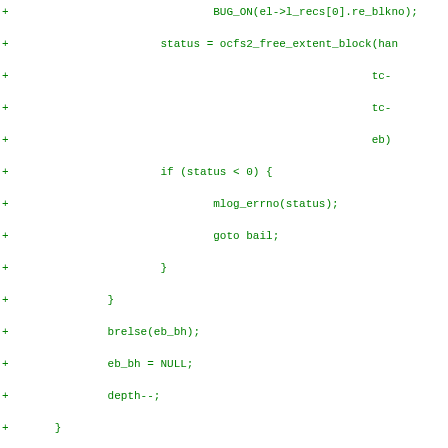[Figure (screenshot): Source code diff showing C code additions (lines prefixed with +) for OCFS2 filesystem functions including ocfs2_free_extent_block, mlog_errno, goto bail, brelse, BUG_ON, ocfs2_truncate_log_append, ocfs2_extent_map_trunc, ocfs2_extent_map_drop, mlog_exit, and return status. Green text on white background.]